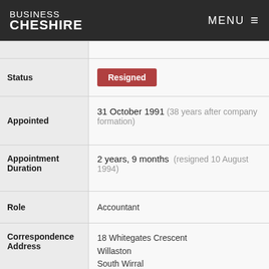BUSINESS CHESHIRE  MENU
| Field | Value |
| --- | --- |
|  |  |
| Status | Resigned |
| Appointed | 31 October 1991 (38 years after company formation) |
| Appointment Duration | 2 years, 9 months  (resigned 10 August 1994) |
| Role | Accountant |
| Correspondence Address | 18 Whitegates Crescent
Willaston
South Wirral
Merseyside
CH64 2UX
Wales |